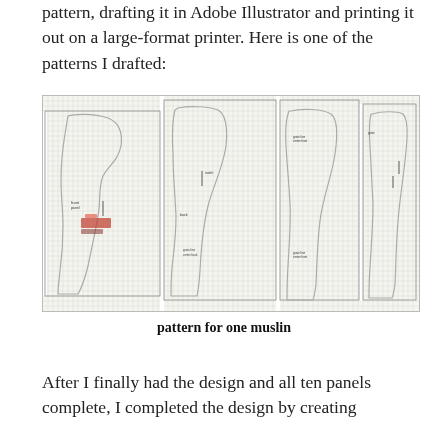pattern, drafting it in Adobe Illustrator and printing it out on a large-format printer.  Here is one of the patterns I drafted:
[Figure (illustration): A sewing pattern for one muslin showing four panels on grid paper: a large side/front panel with curved outlines and some red markings, a back panel, a smaller pattern piece, and a narrow sleeve or side piece. All panels show garment shape outlines on graph paper background.]
pattern for one muslin
After I finally had the design and all ten panels complete, I completed the design by creating